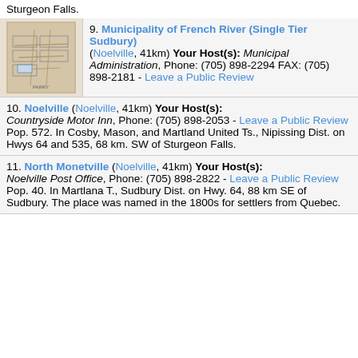Sturgeon Falls.
9. Municipality of French River (Single Tier Sudbury) (Noelville, 41km) Your Host(s): Municipal Administration, Phone: (705) 898-2294 FAX: (705) 898-2181 - Leave a Public Review
10. Noelville (Noelville, 41km) Your Host(s): Countryside Motor Inn, Phone: (705) 898-2053 - Leave a Public Review
Pop. 572. In Cosby, Mason, and Martland United Ts., Nipissing Dist. on Hwys 64 and 535, 68 km. SW of Sturgeon Falls.
11. North Monetville (Noelville, 41km) Your Host(s): Noelville Post Office, Phone: (705) 898-2822 - Leave a Public Review
Pop. 40. In Martlana T., Sudbury Dist. on Hwy. 64, 88 km SE of Sudbury. The place was named in the 1800s for settlers from Quebec.